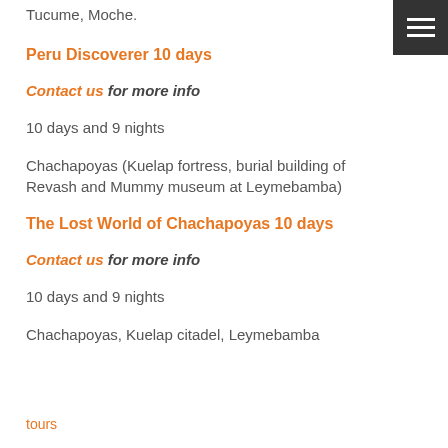Tucume, Moche.
Peru Discoverer 10 days
Contact us for more info
10 days and 9 nights
Chachapoyas (Kuelap fortress, burial building of Revash and Mummy museum at Leymebamba)
The Lost World of Chachapoyas 10 days
Contact us for more info
10 days and 9 nights
Chachapoyas, Kuelap citadel, Leymebamba
tours